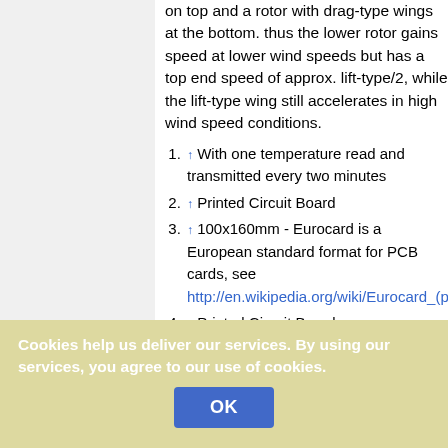on top and a rotor with drag-type wings at the bottom. thus the lower rotor gains speed at lower wind speeds but has a top end speed of approx. lift-type/2, while the lift-type wing still accelerates in high wind speed conditions.
↑ With one temperature read and transmitted every two minutes
↑ Printed Circuit Board
↑ 100x160mm - Eurocard is a European standard format for PCB cards, see http://en.wikipedia.org/wiki/Eurocard_(printed_circuit_board) ]
↑ Printed Circuit Board
↑
Cookies help us deliver our services. By using our services, you agree to our use of cookies.